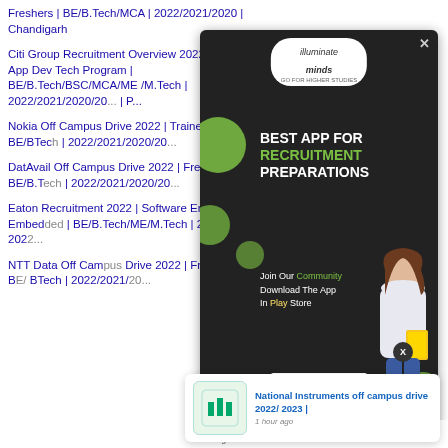Freshers | BE/B.Tech/MCA | 2022/2021/2020 | Chandigarh
Citi Group Recruitment Overview 2022 | Officer App Dev Tech Program | BE/B.Tech/BSC/MCA/ME /M.Tech | 2022/2021/2020/2019 | P...
Nokia Off Campus Drive 2022 | Trainee | BE/BTech | 2022/2021/2020/20...
DatAvail Off Campus Drive 2022 | Freshers | BE/B.Tech | 2022/2021/2020/20...
Eaton Recruitment 2022 | Software Engineer Embedded | BE/B.Tech/ME/M.Tech | 2020-2022...
NTT Data Off Campus Drive 2022 | Fresher | BE/BTech | 2022/2021/20...
[Figure (infographic): Illuminate Minds app advertisement overlay with green decorative balls, heading 'BEST APP FOR RECRUITMENT PREPARATIONS', subtext 'Join Our Community Download The App In Play Store', Download Now button, and a smiling woman holding books on dark background]
[Figure (infographic): Push notification for 'National Instruments off campus drive 2022/ 2023 | 1 hour ago' with NI logo icon]
Install our application from PlayStore and get discounts on our new courses.